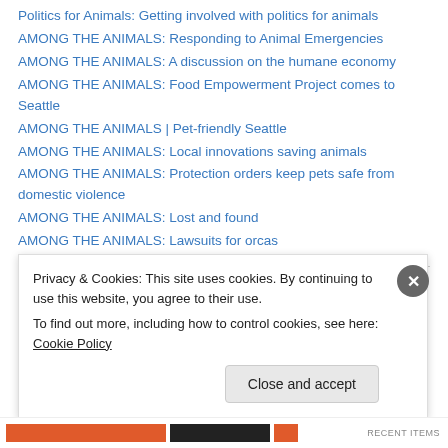Politics for Animals: Getting involved with politics for animals
AMONG THE ANIMALS: Responding to Animal Emergencies
AMONG THE ANIMALS: A discussion on the humane economy
AMONG THE ANIMALS: Food Empowerment Project comes to Seattle
AMONG THE ANIMALS | Pet-friendly Seattle
AMONG THE ANIMALS: Local innovations saving animals
AMONG THE ANIMALS: Protection orders keep pets safe from domestic violence
AMONG THE ANIMALS: Lost and found
AMONG THE ANIMALS: Lawsuits for orcas
Archives
Privacy & Cookies: This site uses cookies. By continuing to use this website, you agree to their use. To find out more, including how to control cookies, see here: Cookie Policy